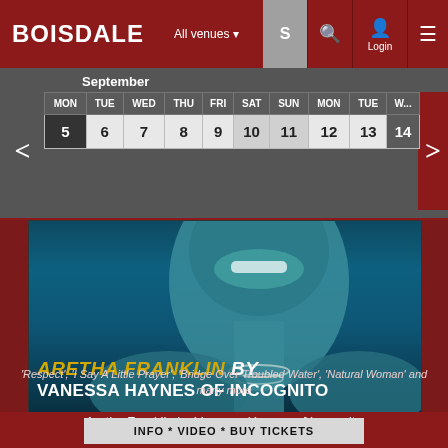BOISDALE  All venues  Login
September
| MON | TUE | WED | THU | FRI | SAT | SUN | MON | TUE | WED |
| --- | --- | --- | --- | --- | --- | --- | --- | --- | --- |
| 5 | 6 | 7 | 8 | 9 | 10 | 11 | 12 | 13 | 14 |
[Figure (photo): Concert promotional image with woman's face and text: ARETHA FRANKLIN BY VANESSA HAYNES OF INCOGNITO]
Aretha Franklin by Vanessa Haynes of Incognito
'Respect', 'I Say A Little Prayer', 'Bridge Over Troubled Water', 'Natural Woman' and many more
INFO * VIDEO * BUY TICKETS